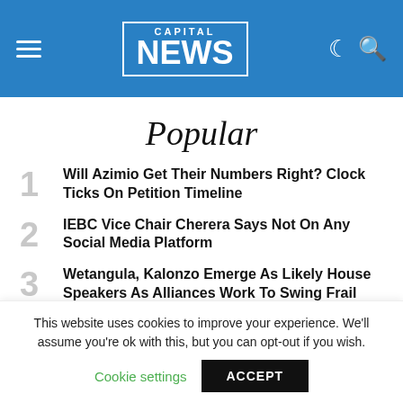Capital NEWS
Popular
1. Will Azimio Get Their Numbers Right? Clock Ticks On Petition Timeline
2. IEBC Vice Chair Cherera Says Not On Any Social Media Platform
3. Wetangula, Kalonzo Emerge As Likely House Speakers As Alliances Work To Swing Frail Parties, Independents
4.
This website uses cookies to improve your experience. We'll assume you're ok with this, but you can opt-out if you wish. Cookie settings  ACCEPT